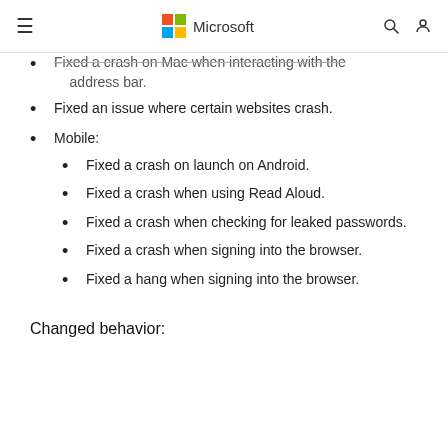Microsoft
Fixed a crash on Mac when interacting with the address bar.
Fixed an issue where certain websites crash.
Mobile:
Fixed a crash on launch on Android.
Fixed a crash when using Read Aloud.
Fixed a crash when checking for leaked passwords.
Fixed a crash when signing into the browser.
Fixed a hang when signing into the browser.
Changed behavior: